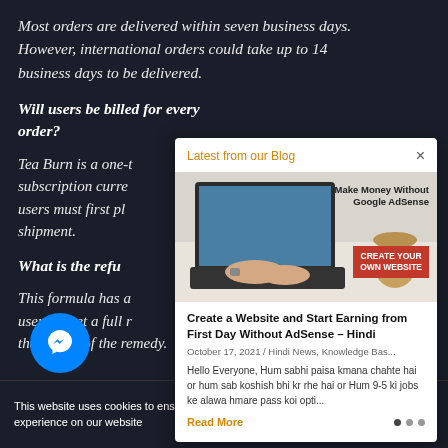Most orders are delivered within seven business days. However, international orders could take up to 14 business days to be delivered.
Will users be billed for every order?
Tea Burn is a one-time purchase with no subscription currently available. As such, users must first place an order for each shipment.
What is the refund policy?
This formula has a generous policy that allows users to get a full refund if they don't like the results of the remedy.
[Figure (screenshot): Blog popup overlay showing 'Latest from our Blog' with an article titled 'Create a Website and Start Earning from First Day Without AdSense – Hindi', dated October 17, 2021, with an image of a laptop and Create Your Own Website button, excerpt in Hindi, and Read More link with pagination dots.]
This website uses cookies to ensure you get the best experience on our website